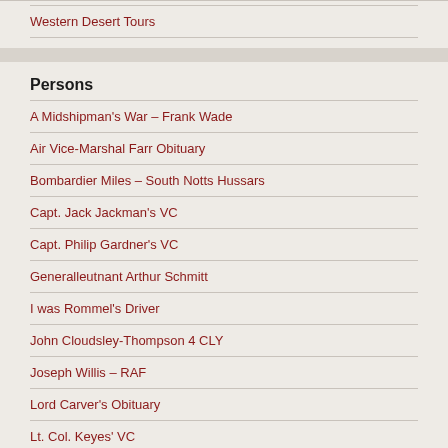Western Desert Tours
Persons
A Midshipman's War – Frank Wade
Air Vice-Marshal Farr Obituary
Bombardier Miles – South Notts Hussars
Capt. Jack Jackman's VC
Capt. Philip Gardner's VC
Generalleutnant Arthur Schmitt
I was Rommel's Driver
John Cloudsley-Thompson 4 CLY
Joseph Willis – RAF
Lord Carver's Obituary
Lt. Col. Keyes' VC